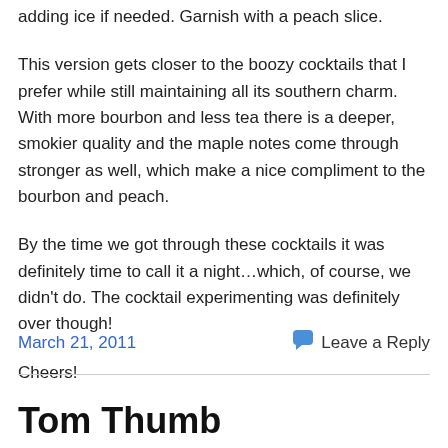adding ice if needed.  Garnish with a peach slice.
This version gets closer to the boozy cocktails that I prefer while still maintaining all its southern charm.  With more bourbon and less tea there is a deeper, smokier quality and the maple notes come through stronger as well, which make a nice compliment to the bourbon and peach.
By the time we got through these cocktails it was definitely time to call it a night…which, of course, we didn't do.  The cocktail experimenting was definitely over though!
Cheers!
March 21, 2011    Leave a Reply
Tom Thumb